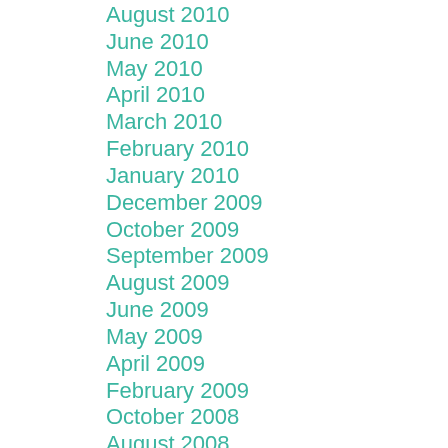August 2010
June 2010
May 2010
April 2010
March 2010
February 2010
January 2010
December 2009
October 2009
September 2009
August 2009
June 2009
May 2009
April 2009
February 2009
October 2008
August 2008
May 2008
April 2008
December 2007
September 2007